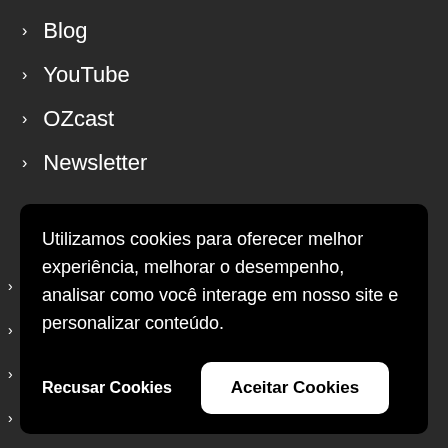Blog
YouTube
OZcast
Newsletter
Release Notes
Utilizamos cookies para oferecer melhor experiência, melhorar o desempenho, analisar como você interage em nosso site e personalizar conteúdo.
Recusar Cookies
Aceitar Cookies